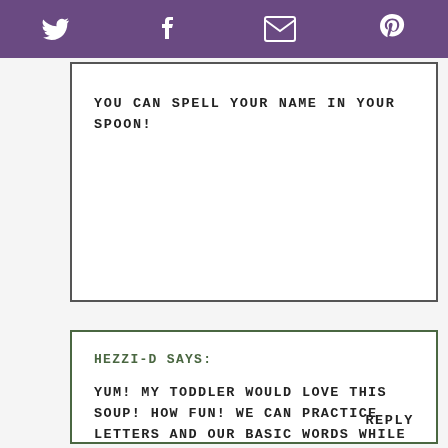Twitter Facebook Email Pinterest
YOU CAN SPELL YOUR NAME IN YOUR SPOON!
HEZZI-D SAYS:

YUM! MY TODDLER WOULD LOVE THIS SOUP! HOW FUN! WE CAN PRACTICE LETTERS AND OUR BASIC WORDS WHILE EATING.

REPLY